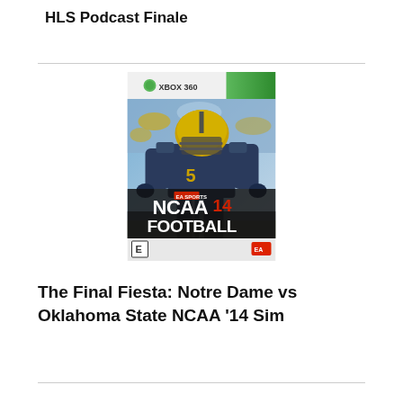HLS Podcast Finale
[Figure (photo): NCAA Football 14 Xbox 360 video game cover featuring a Notre Dame football player in uniform]
The Final Fiesta: Notre Dame vs Oklahoma State NCAA '14 Sim